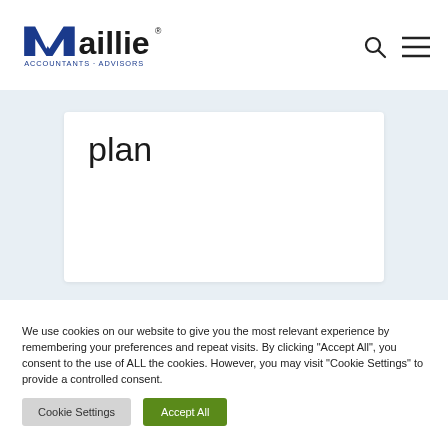Maillie Accountants · Advisors
plan
We use cookies on our website to give you the most relevant experience by remembering your preferences and repeat visits. By clicking "Accept All", you consent to the use of ALL the cookies. However, you may visit "Cookie Settings" to provide a controlled consent.